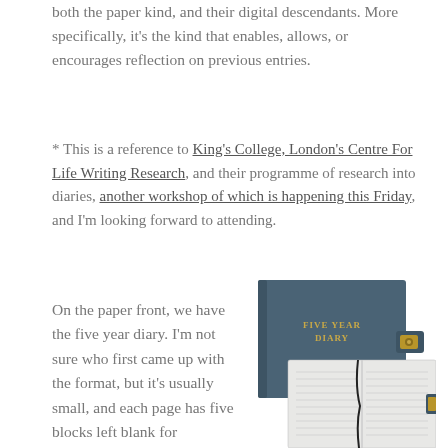both the paper kind, and their digital descendants. More specifically, it's the kind that enables, allows, or encourages reflection on previous entries.
* This is a reference to King's College, London's Centre For Life Writing Research, and their programme of research into diaries, another workshop of which is happening this Friday, and I'm looking forward to attending.
On the paper front, we have the five year diary. I'm not sure who first came up with the format, but it's usually small, and each page has five blocks left blank for...
[Figure (photo): Photo of a Five Year Diary — a teal/dark blue hardcover book with gold lettering reading 'FIVE YEAR DIARY', shown closed with a clasp closure, and also open showing lined diary pages with ribbon bookmark.]